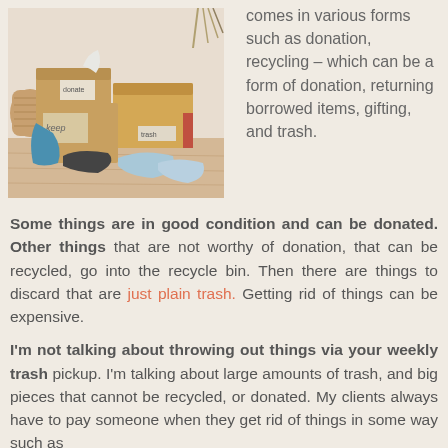[Figure (photo): Cardboard boxes labeled 'keep', 'donate', and 'trash' with clothing items sorted on a wooden floor, along with a wicker basket and plant]
comes in various forms such as donation, recycling – which can be a form of donation, returning borrowed items, gifting, and trash.
Some things are in good condition and can be donated. Other things that are not worthy of donation, that can be recycled, go into the recycle bin. Then there are things to discard that are just plain trash. Getting rid of things can be expensive.
I'm not talking about throwing out things via your weekly trash pickup. I'm talking about large amounts of trash, and big pieces that cannot be recycled, or donated. My clients always have to pay someone when they get rid of things in some way such as